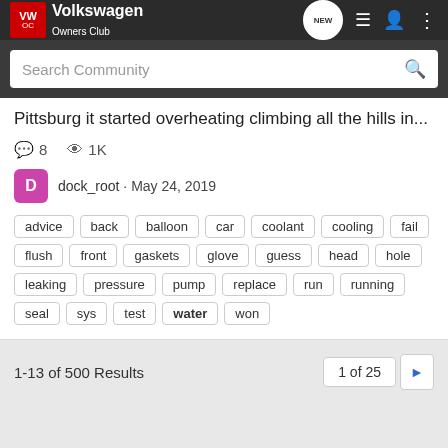Volkswagen Owners Club
Search Community
Pittsburg it started overheating climbing all the hills in...
8 comments · 1K views · dock_root · May 24, 2019
advice back balloon car coolant cooling fail flush front gaskets glove guess head hole leaking pressure pump replace run running seal sys test water won
1-13 of 500 Results
1 of 25
Search